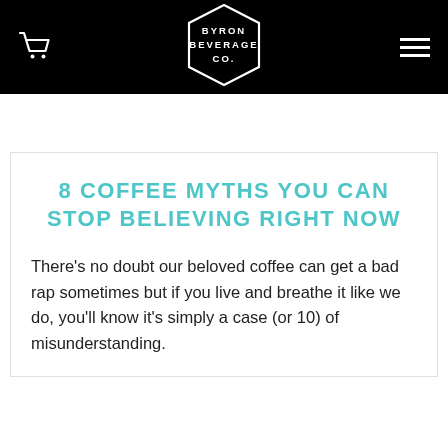Byron Beverage Co.
8 COFFEE MYTHS YOU CAN STOP BELIEVING RIGHT NOW
There's no doubt our beloved coffee can get a bad rap sometimes but if you live and breathe it like we do, you'll know it's simply a case (or 10) of misunderstanding.